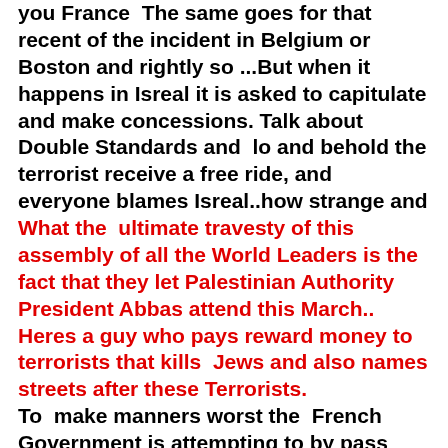you France  The same goes for that recent of the incident in Belgium or Boston and rightly so ...But when it happens in Isreal it is asked to capitulate and make concessions. Talk about Double Standards and  lo and behold the terrorist receive a free ride, and everyone blames Isreal..how strange and What the  ultimate travesty of this assembly of all the World Leaders is the fact that they let Palestinian Authority President Abbas attend this March.. Heres a guy who pays reward money to terrorists that kills  Jews and also names streets after these Terrorists. To  make manners worst the  French Government is attempting to by pass  the Israeli governments sovereignty and put Up Jerusalem on the action block so to speak and force Israel's  hand  to start up peace talks .. and will be demanding a 2 state solution. France  you want a 2 state solution? You and every